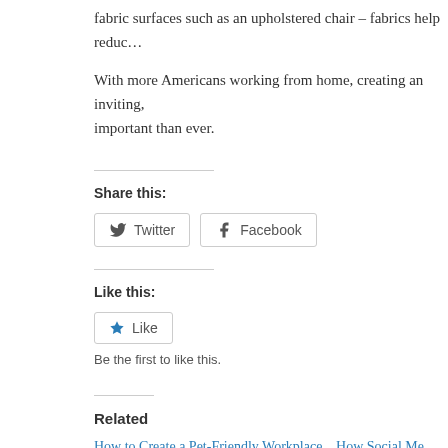fabric surfaces such as an upholstered chair – fabrics help reduc…
With more Americans working from home, creating an inviting, … important than ever.
Share this:
[Figure (other): Twitter and Facebook share buttons]
Like this:
[Figure (other): Like button with star icon]
Be the first to like this.
Related
How to Create a Pet-Friendly Workplace
July 11, 2019
How Social Me…
December 22…